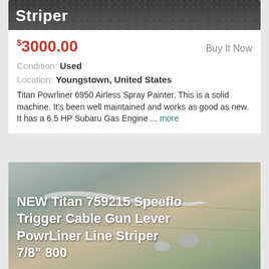[Figure (photo): Partial view of a product image with text 'Striper' visible on dark/gravel background]
$3000.00  Buy It Now
Condition: Used
Location: Youngstown, United States
Titan Powrliner 6950 Airless Spray Painter. This is a solid machine. It’s been well maintained and works as good as new. It has a 6.5 HP Subaru Gas Engine ... more
[Figure (photo): Photo of silver/chrome metal trigger cable gun lever parts on a wooden surface. Text overlay reads: NEW Titan 759215 Speeflo Trigger Cable Gun Lever PowrLiner Line Striper 7/8" 800]
$19.95  Buy It Now  Free Shipping
Condition: New